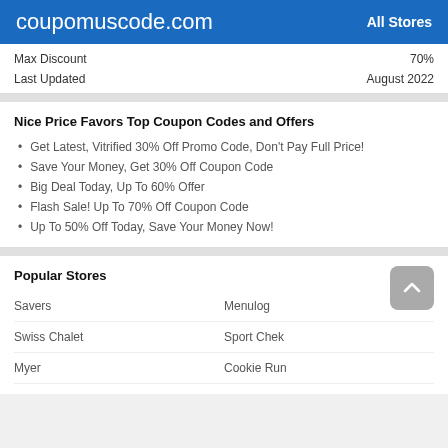coupomuscode.com   All Stores
Max Discount   70%
Last Updated   August 2022
Nice Price Favors Top Coupon Codes and Offers
Get Latest, Vitrified 30% Off Promo Code, Don't Pay Full Price!
Save Your Money, Get 30% Off Coupon Code
Big Deal Today, Up To 60% Offer
Flash Sale! Up To 70% Off Coupon Code
Up To 50% Off Today, Save Your Money Now!
Popular Stores
Savers
Menulog
Swiss Chalet
Sport Chek
Myer
Cookie Run